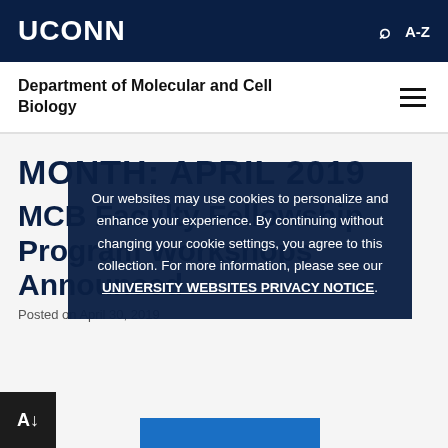UCONN
Department of Molecular and Cell Biology
MONTH: APRIL 2019
MCB Faculty Fellowship Program Workshops Announced
Posted on April 30, 2019
Our websites may use cookies to personalize and enhance your experience. By continuing without changing your cookie settings, you agree to this collection. For more information, please see our UNIVERSITY WEBSITES PRIVACY NOTICE.